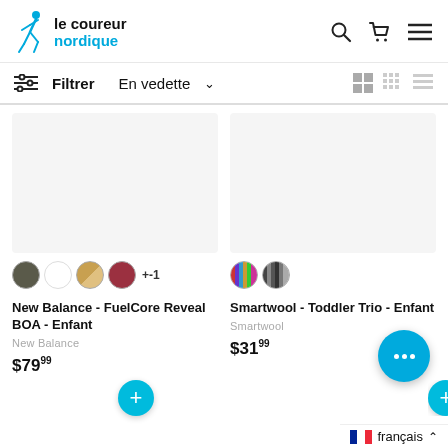le coureur nordique
Filtrer  En vedette
[Figure (screenshot): Product listing card for New Balance - FuelCore Reveal BOA - Enfant with color swatches and price $79.99]
New Balance - FuelCore Reveal BOA - Enfant
New Balance
$79.99
[Figure (screenshot): Product listing card for Smartwool - Toddler Trio - Enfant with color swatches and price $31.99]
Smartwool - Toddler Trio - Enfant
Smartwool
$31.99
français